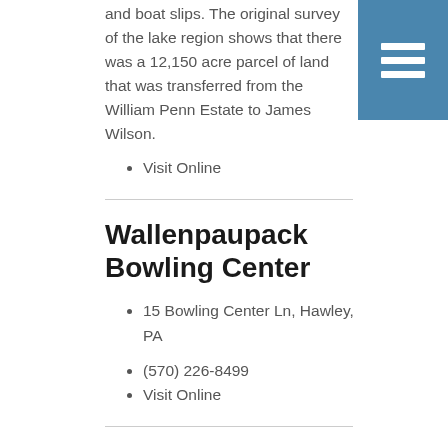and boat slips. The original survey of the lake region shows that there was a 12,150 acre parcel of land that was transferred from the William Penn Estate to James Wilson.
Visit Online
Wallenpaupack Bowling Center
15 Bowling Center Ln, Hawley, PA
(570) 226-8499
Visit Online
Claws 'n' Paws Wild Animal Park